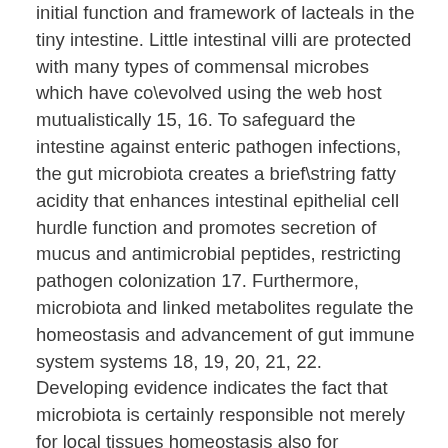initial function and framework of lacteals in the tiny intestine. Little intestinal villi are protected with many types of commensal microbes which have co\evolved using the web host mutualistically 15, 16. To safeguard the intestine against enteric pathogen infections, the gut microbiota creates a brief\string fatty acidity that enhances intestinal epithelial cell hurdle function and promotes secretion of mucus and antimicrobial peptides, restricting pathogen colonization 17. Furthermore, microbiota and linked metabolites regulate the homeostasis and advancement of gut immune system systems 18, 19, 20, 21, 22. Developing evidence indicates the fact that microbiota is certainly responsible not merely for local tissues homeostasis also for homeostasis, such as for example energy and fat burning capacity stability, in faraway organs 23, 24. Gut microbiota impact human brain function SB1317 (TG02) also, behavior, and mental wellness 25, 26, 27, 28. The postnatal advancement of intestinal vasculature is certainly driven by gut microbiota 29, where cells element and